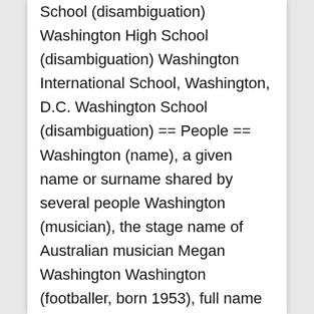School (disambiguation) Washington High School (disambiguation) Washington International School, Washington, D.C. Washington School (disambiguation) == People == Washington (name), a given name or surname shared by several people Washington (musician), the stage name of Australian musician Megan Washington Washington (footballer, born 1953), full name Washington Luiz de Paula, Brazilian football forward Washington (footballer, born 1 April 1975), full name Washington Stecanela Cerqueira, Brazilian football manager and former striker Washington (footballer, born 10 April 1975), full name Washington Luiz Pereira dos Santos, Brazilian football striker Washington (footballer, born August 1978), full name Washington Luiz Mascarenhas